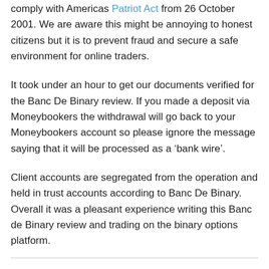comply with Americas Patriot Act from 26 October 2001. We are aware this might be annoying to honest citizens but it is to prevent fraud and secure a safe environment for online traders.
It took under an hour to get our documents verified for the Banc De Binary review. If you made a deposit via Moneybookers the withdrawal will go back to your Moneybookers account so please ignore the message saying that it will be processed as a ‘bank wire’.
Client accounts are segregated from the operation and held in trust accounts according to Banc De Binary. Overall it was a pleasant experience writing this Banc de Binary review and trading on the binary options platform.